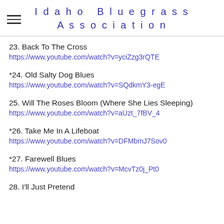Idaho Bluegrass Association
23. Back To The Cross
https://www.youtube.com/watch?v=yciZzg3rQTE
*24. Old Salty Dog Blues
https://www.youtube.com/watch?v=SQdkmY3-egE
25. Will The Roses Bloom (Where She Lies Sleeping)
https://www.youtube.com/watch?v=aUzt_7fBV_4
*26. Take Me In A Lifeboat
https://www.youtube.com/watch?v=DFMbmJ7Sov0
*27. Farewell Blues
https://www.youtube.com/watch?v=McvTz0j_Pt0
28. I'll Just Pretend